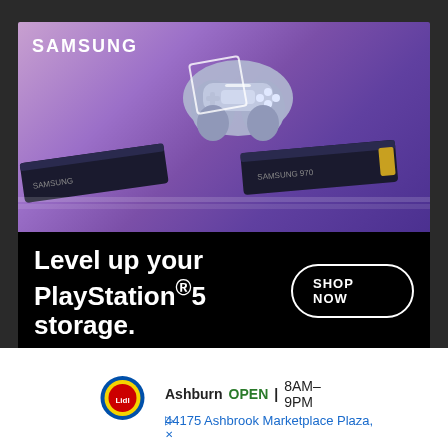[Figure (photo): Samsung advertisement banner showing a PS5 controller and two SSD drives (980 PRO with Heatsink) on a purple/gradient background with Samsung logo]
Level up your PlayStation®5 storage.
SHOP NOW
980 PRO with Heatsink
About Techaeris
[Figure (infographic): Lidl store advertisement showing Ashburn location, OPEN status 8AM-9PM, address 44175 Ashbrook Marketplace Plaza, with Lidl logo and navigation arrow]
Ashburn  OPEN | 8AM–9PM
44175 Ashbrook Marketplace Plaza,